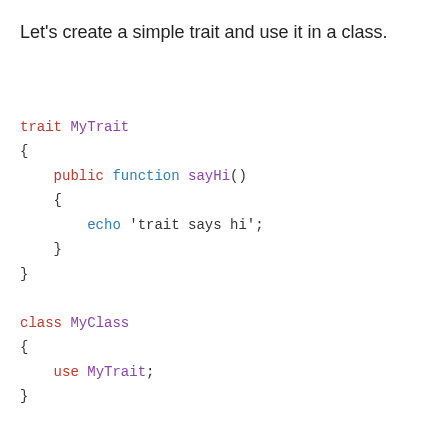Let's create a simple trait and use it in a class.
trait MyTrait
{
    public function sayHi()
    {
        echo 'trait says hi';
    }
}

class MyClass
{
    use MyTrait;
}